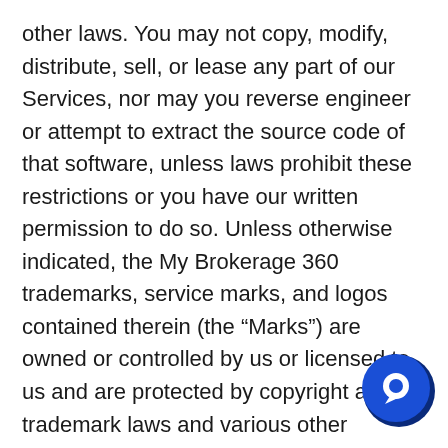other laws. You may not copy, modify, distribute, sell, or lease any part of our Services, nor may you reverse engineer or attempt to extract the source code of that software, unless laws prohibit these restrictions or you have our written permission to do so. Unless otherwise indicated, the My Brokerage 360 trademarks, service marks, and logos contained therein (the “Marks”) are owned or controlled by us or licensed to us and are protected by copyright and trademark laws and various other intellectual property rights and unfair competition laws of the United States, international copyright laws, and international conventions. The Content and the Marks are provided on the Site “AS IS” for your information and personal use only. Except as expressly provided in these Terms, no part of the Site and no Content or Marks may be copied, reproduced, aggregated, republished, uploaded, posted, publicly displayed, encoded, translated, transmitted, distributed, sold, licensed, or otherwise exploited for any commercial purpose whatsoever
[Figure (other): Blue circular chat widget/button with a white speech bubble icon, partially overlapping the text in the lower right area of the page.]